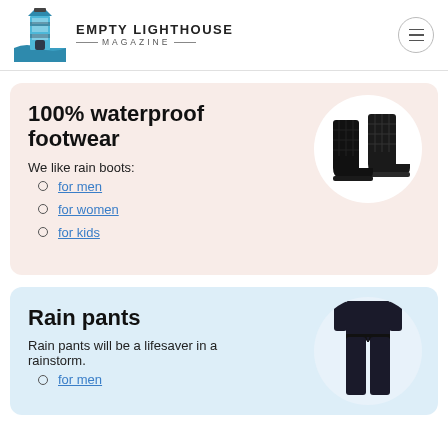EMPTY LIGHTHOUSE MAGAZINE
100% waterproof footwear
We like rain boots:
for men
for women
for kids
[Figure (photo): Black quilted rain boots on white circle background]
Rain pants
Rain pants will be a lifesaver in a rainstorm.
[Figure (photo): Person wearing black rain pants on white circle background]